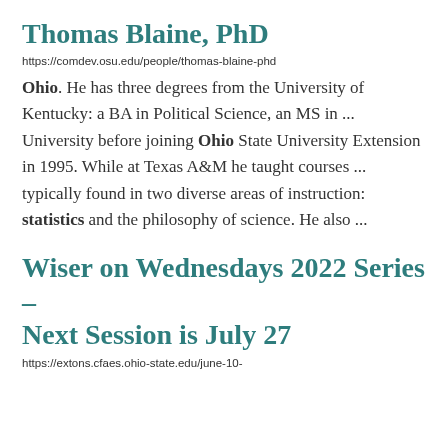Thomas Blaine, PhD
https://comdev.osu.edu/people/thomas-blaine-phd
Ohio. He has three degrees from the University of Kentucky: a BA in Political Science, an MS in ... University before joining Ohio State University Extension in 1995. While at Texas A&M he taught courses ... typically found in two diverse areas of instruction: statistics and the philosophy of science. He also ...
Wiser on Wednesdays 2022 Series – Next Session is July 27
https://extons.cfaes.ohio-state.edu/june-10-